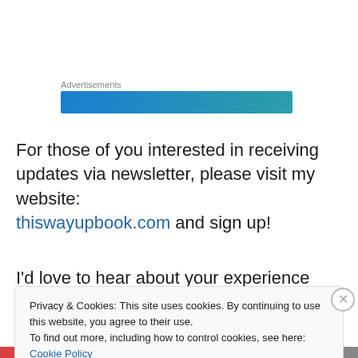Advertisements
[Figure (other): Blue-to-teal gradient advertisement banner]
For those of you interested in receiving updates via newsletter, please visit my website: thiswayupbook.com and sign up!
I'd love to hear about your experience around the
Privacy & Cookies: This site uses cookies. By continuing to use this website, you agree to their use.
To find out more, including how to control cookies, see here: Cookie Policy
Close and accept